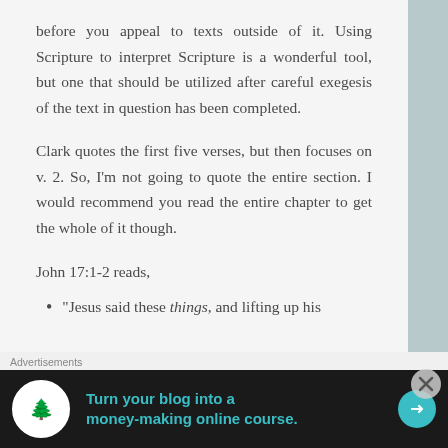before you appeal to texts outside of it. Using Scripture to interpret Scripture is a wonderful tool, but one that should be utilized after careful exegesis of the text in question has been completed.
Clark quotes the first five verses, but then focuses on v. 2. So, I'm not going to quote the entire section. I would recommend you read the entire chapter to get the whole of it though.
John 17:1-2 reads,
“Jesus said these things, and lifting up his
Advertisements
[Figure (infographic): Dark advertisement banner: 'Turn your blog into a money-making online course.' with a tree/person icon and arrow button]